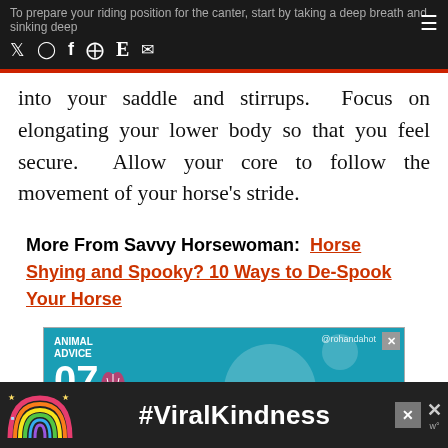To prepare your riding position for the canter, start by taking a deep breath and sinking deep
into your saddle and stirrups. Focus on elongating your lower body so that you feel secure. Allow your core to follow the movement of your horse's stride.
More From Savvy Horsewoman: Horse Shying and Spooky? 10 Ways to De-Spook Your Horse
[Figure (infographic): Animal Advice 07 advertisement with teal background, decorative owl figure, circles, and @rohandahot watermark]
[Figure (infographic): Bottom banner ad with rainbow illustration and #ViralKindness text on dark background]